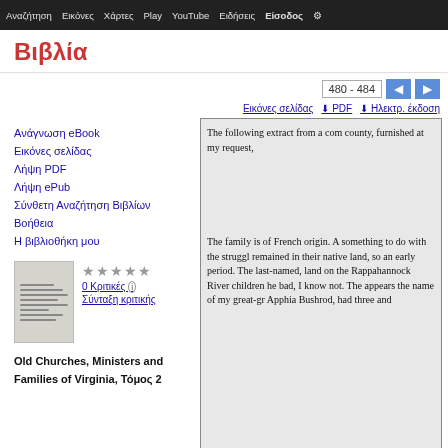Αναζήτηση  Εικόνες  Χάρτες  Play  YouTube  Ειδήσεις  Είσοδος  Ρυθμίσεις
Βιβλία
480 - 484
Εικόνες σελίδας   ⬇ PDF   ⬇ Ηλεκτρ. έκδοση
Ανάγνωση eBook
Εικόνες σελίδας
Λήψη PDF
Λήψη ePub
Σύνθετη Αναζήτηση Βιβλίων
Βοήθεια
Η βιβλιοθήκη μου
★★★★★
0 Κριτικές
Σύνταξη κριτικής
Old Churches, Ministers and Families of Virginia, Τόμος 2
[Figure (screenshot): Scanned book page showing partial text: 'The following extract from a co... county, furnished at my request, ...' and 'The family is of French origin. A... something to do with the strugg... remained in their native land, so... an early period. The last-named, ... land on the Rappahannock River... children he bad, I know not. The... appears the name of my great-gr... Apphia Bushrod, had three and']